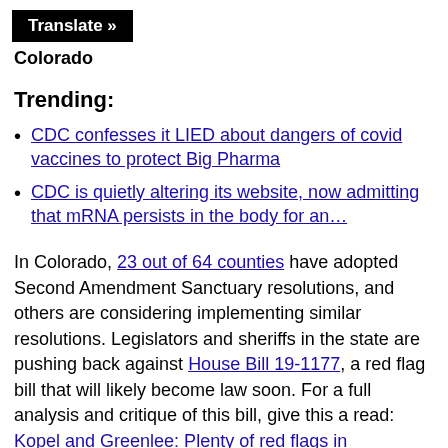Translate »
Colorado
Trending:
CDC confesses it LIED about dangers of covid vaccines to protect Big Pharma
CDC is quietly altering its website, now admitting that mRNA persists in the body for an…
In Colorado, 23 out of 64 counties have adopted Second Amendment Sanctuary resolutions, and others are considering implementing similar resolutions. Legislators and sheriffs in the state are pushing back against House Bill 19-1177, a red flag bill that will likely become law soon. For a full analysis and critique of this bill, give this a read: Kopel and Greenlee: Plenty of red flags in Colorado's 'extreme…